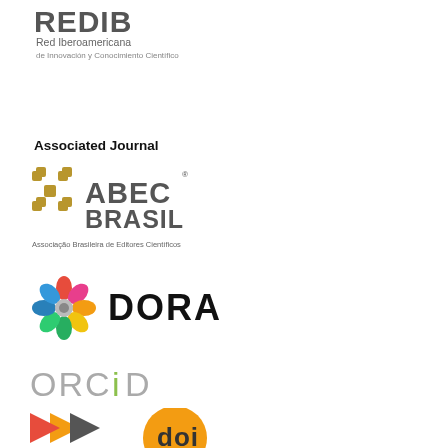[Figure (logo): REDIB logo - Red Iberoamericana de Innovación y Conocimiento Científico]
Associated Journal
[Figure (logo): ABEC Brasil logo - Associação Brasileira de Editores Científicos]
[Figure (logo): DORA logo - colorful circular star/flower shape with DORA text]
[Figure (logo): ORCID logo - grey text with green i dot]
[Figure (logo): Partial logos at bottom - colorful arrow/chevron shape and doi orange circle logo]